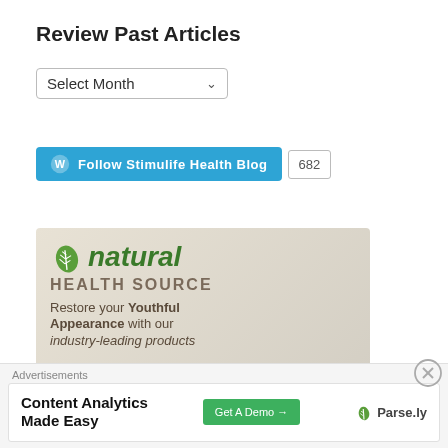Review Past Articles
[Figure (screenshot): Select Month dropdown widget]
[Figure (screenshot): Follow Stimulife Health Blog WordPress follow button with follower count 682]
[Figure (illustration): Natural Health Source advertisement banner: leaf logo, 'natural HEALTH SOURCE', 'Restore your Youthful Appearance with our industry-leading products']
Advertisements
[Figure (screenshot): Content Analytics Made Easy - Get A Demo button - Parse.ly advertisement banner]